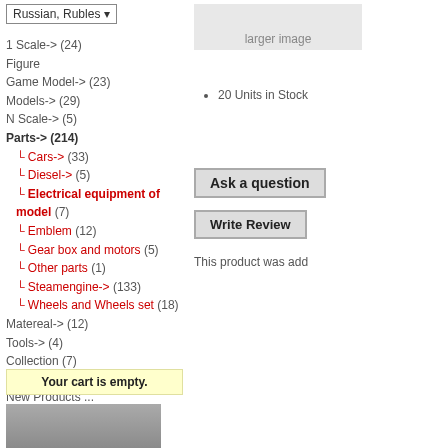Russian, Rubles (dropdown)
[Figure (screenshot): Gray box placeholder for larger image]
20 Units in Stock
1 Scale-> (24)
Figure
Game Model-> (23)
Models-> (29)
N Scale-> (5)
Parts-> (214)
Cars-> (33)
Diesel-> (5)
Electrical equipment of model (7)
Emblem (12)
Gear box and motors (5)
Other parts (1)
Steamengine-> (133)
Wheels and Wheels set (18)
Matereal-> (12)
Tools-> (4)
Collection (7)
New Products ...
Featured Products ...
All Products ...
Ask a question
Write Review
This product was add
Your cart is empty.
[Figure (photo): Partial photo of a model/vehicle at bottom left]